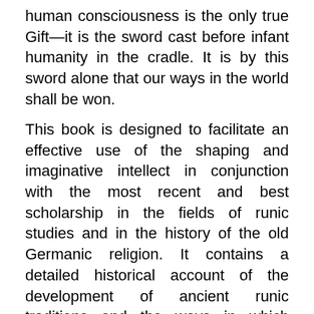human consciousness is the only true Gift—it is the sword cast before infant humanity in the cradle. It is by this sword alone that our ways in the world shall be won.
This book is designed to facilitate an effective use of the shaping and imaginative intellect in conjunction with the most recent and best scholarship in the fields of runic studies and in the history of the old Germanic religion. It contains a detailed historical account of the development of ancient runic traditions and the ways in which runestaves were used in the elder age. These historical data are combined with esoteric investigations into the nature of